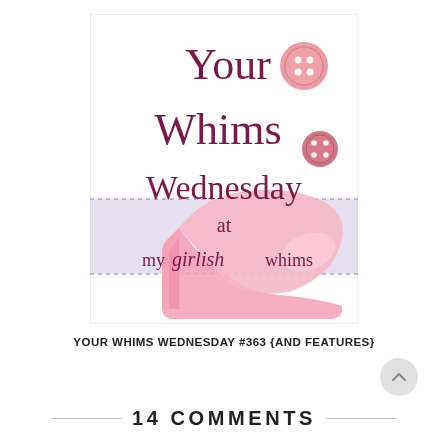[Figure (logo): Your Whims Wednesday at my girlish whims logo with a pink high heel shoe and button decorations on a white/lavender background]
YOUR WHIMS WEDNESDAY #363 {AND FEATURES}
14 COMMENTS